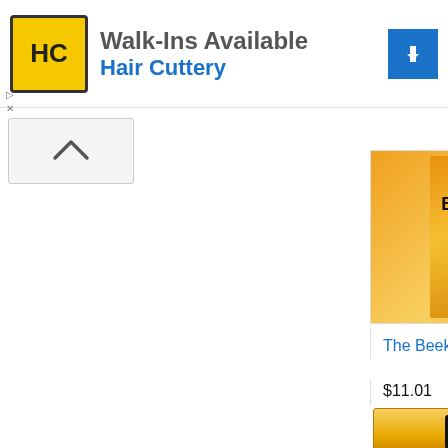[Figure (infographic): Hair Cuttery advertisement banner with logo, Walk-ins Available text, and navigation arrow icon]
[Figure (photo): The Beekeeper's Handbook book cover with honeycomb and bee imagery]
The Beekeeper's Handbook
$11.01
[Figure (infographic): Amazon Shop now button]
[Figure (photo): Beekeeping For Dummies book cover with Amazon branding]
Beekeeping For Dummies (For...